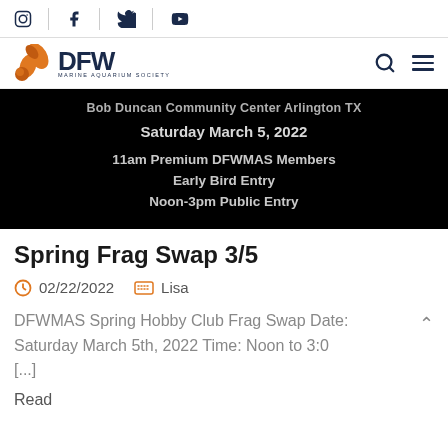Social icons: Instagram, Facebook, Twitter, YouTube
[Figure (logo): DFW Marine Aquarium Society logo with orange fish and dark blue DFW text]
[Figure (screenshot): Black banner showing: Bob Duncan Community Center Arlington TX, Saturday March 5, 2022, 11am Premium DFWMAS Members Early Bird Entry, Noon-3pm Public Entry]
Spring Frag Swap 3/5
02/22/2022   Lisa
DFWMAS Spring Hobby Club Frag Swap Date: Saturday March 5th, 2022 Time: Noon to 3:0 [...]
Read